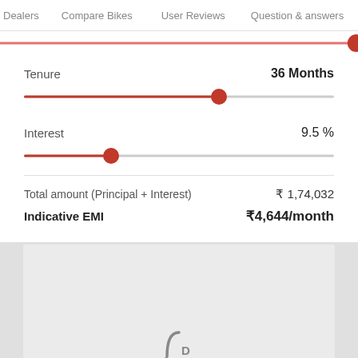Dealers   Compare Bikes   User Reviews   Question & answers
[Figure (other): Slider control at top position (red filled track with red circle thumb at far right)]
Tenure	36 Months
[Figure (other): Tenure slider: red filled track to ~63% with red circle thumb, remainder gray track]
Interest	9.5 %
[Figure (other): Interest slider: red filled track to ~28% with red circle thumb, remainder gray track]
Total amount (Principal + Interest)	₹ 1,74,032
Indicative EMI	₹4,644/month
[Figure (other): Advertisement placeholder with 'Ad' logo at bottom center]